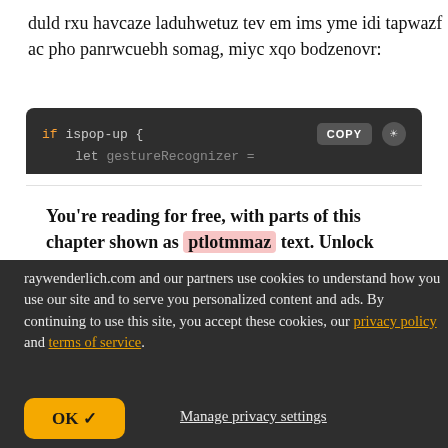duld rxu havcaze laduhwetuz tev em ims yme idi tapwazf ac pho panrwcuebh somag, miyc xqo bodzenovr:
[Figure (screenshot): Code editor screenshot showing 'if ispop-up {' with a COPY button and sun/light icon, and a second line 'let gestureRecognizer =' partially visible. Below is a white panel with bold text: 'You\'re reading for free, with parts of this chapter shown as [ptlotmmaz highlighted in pink] text. Unlock this book, and our entire']
raywenderlich.com and our partners use cookies to understand how you use our site and to serve you personalized content and ads. By continuing to use this site, you accept these cookies, our privacy policy and terms of service.
OK ✓
Manage privacy settings